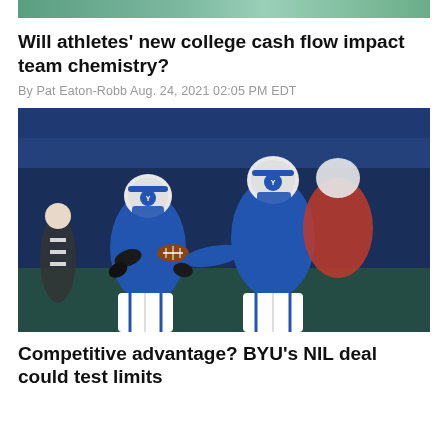[Figure (photo): Top partial image showing a sports scene, cropped at top of page]
Will athletes' new college cash flow impact team chemistry?
By Pat Eaton-Robb Aug. 24, 2021 02:05 PM EDT
[Figure (photo): BYU football players in blue uniforms during a game, one player handing off the ball to another, with a red-uniformed opponent in background]
Competitive advantage? BYU's NIL deal could test limits